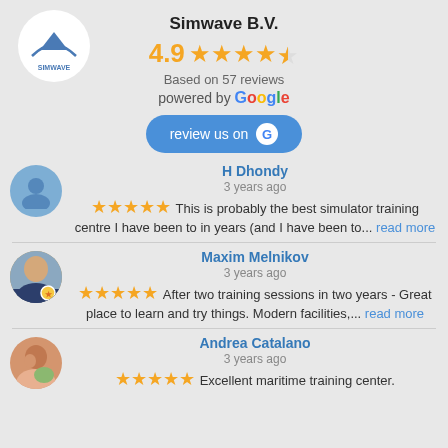[Figure (logo): Simwave logo in a white circle, top left]
Simwave B.V.
[Figure (infographic): 4.9 star rating with 4 full orange stars and 1 half star]
Based on 57 reviews
powered by Google
[Figure (infographic): Blue rounded button: review us on G (Google icon)]
H Dhondy
3 years ago
This is probably the best simulator training centre I have been to in years (and I have been to... read more
Maxim Melnikov
3 years ago
After two training sessions in two years - Great place to learn and try things. Modern facilities,... read more
Andrea Catalano
3 years ago
Excellent maritime training center.